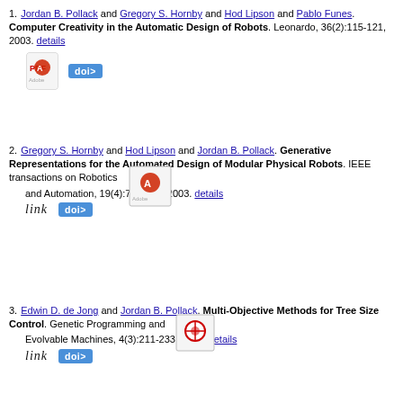1. Jordan B. Pollack and Gregory S. Hornby and Hod Lipson and Pablo Funes. Computer Creativity in the Automatic Design of Robots. Leonardo, 36(2):115-121, 2003. details
2. Gregory S. Hornby and Hod Lipson and Jordan B. Pollack. Generative Representations for the Automated Design of Modular Physical Robots. IEEE transactions on Robotics and Automation, 19(4):709-713, 2003. details
3. Edwin D. de Jong and Jordan B. Pollack. Multi-Objective Methods for Tree Size Control. Genetic Programming and Evolvable Machines, 4(3):211-233, 2003. details